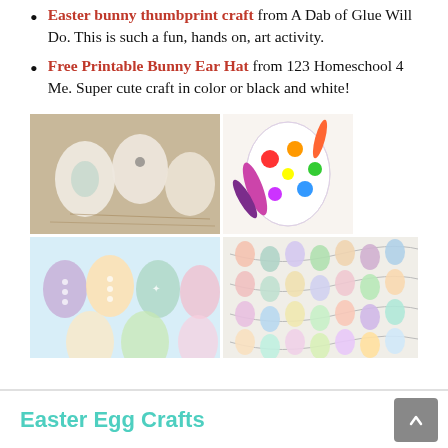Easter bunny thumbprint craft from A Dab of Glue Will Do. This is such a fun, hands on, art activity.
Free Printable Bunny Ear Hat from 123 Homeschool 4 Me. Super cute craft in color or black and white!
[Figure (photo): Collage of Easter egg craft photos: decorated eggs in straw, colorful egg with feathers and pom-poms, pastel paper egg cutouts with dots and stars, and a garland of fingerprint Easter eggs.]
Easter Egg Crafts